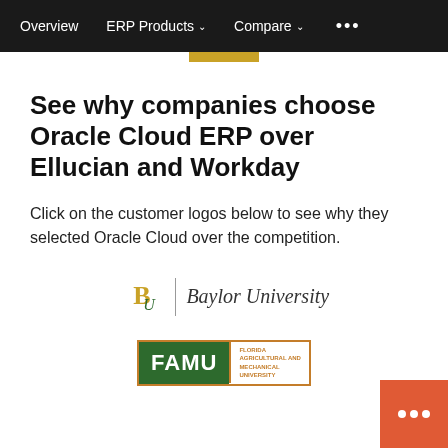Overview  ERP Products ∨  Compare ∨  •••
See why companies choose Oracle Cloud ERP over Ellucian and Workday
Click on the customer logos below to see why they selected Oracle Cloud over the competition.
[Figure (logo): Baylor University logo with BU monogram in gold/green and text 'Baylor University' in serif italic]
[Figure (logo): FAMU logo - Florida Agricultural and Mechanical University, green background with FAMU text and orange border]